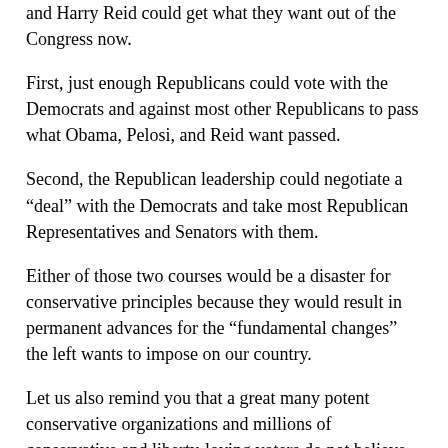and Harry Reid could get what they want out of the Congress now.
First, just enough Republicans could vote with the Democrats and against most other Republicans to pass what Obama, Pelosi, and Reid want passed.
Second, the Republican leadership could negotiate a “deal” with the Democrats and take most Republican Representatives and Senators with them.
Either of those two courses would be a disaster for conservative principles because they would result in permanent advances for the “fundamental changes” the left wants to impose on our country.
Let us also remind you that a great many potent conservative organizations and millions of conservative and liberty-loving voters do not believe in the divine right of incumbents to be re-nominated.